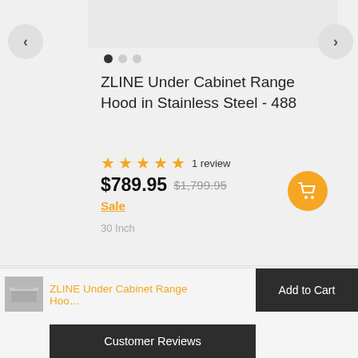ZLINE Under Cabinet Range Hood in Stainless Steel - 488
★★★★★ 1 review
$789.95 $1,799.95 Sale
30 Inch
ZLINE Under Cabinet Range Hoo…
Add to Cart
Customer Reviews